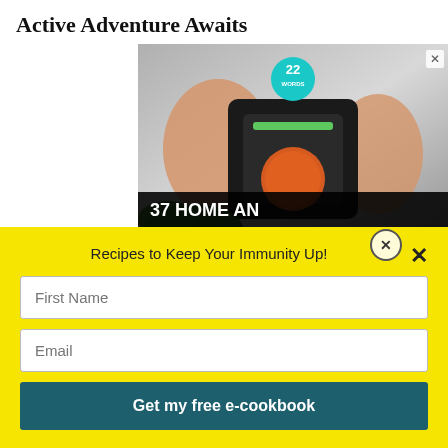Active Adventure Awaits
[Figure (photo): Advertisement image showing hands holding a kitchen gadget with a tomato inside, with '22 WORDS' badge and text '37 HOME AN... ITEMS EV...' overlay. An X close button is visible top-right.]
Recipes to Keep Your Immunity Up!
[Figure (screenshot): Email signup form on yellow background with fields 'First Name' and 'Email' and a button 'Get my free e-cookbook']